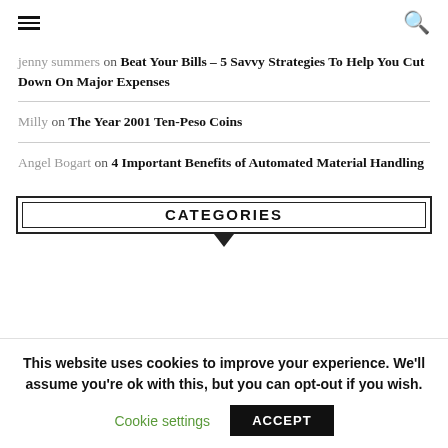[hamburger menu icon] [search icon]
jenny summers on Beat Your Bills – 5 Savvy Strategies To Help You Cut Down On Major Expenses
Milly on The Year 2001 Ten-Peso Coins
Angel Bogart on 4 Important Benefits of Automated Material Handling
CATEGORIES
This website uses cookies to improve your experience. We'll assume you're ok with this, but you can opt-out if you wish.
Cookie settings  ACCEPT